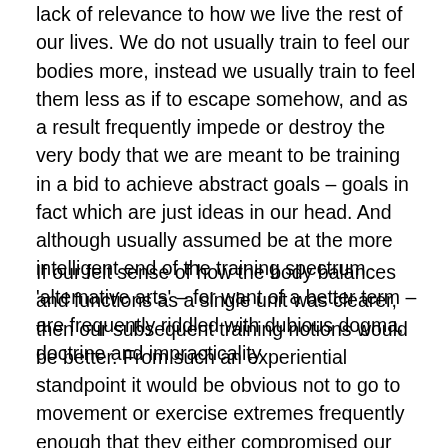lack of relevance to how we live the rest of our lives. We do not usually train to feel our bodies more, instead we usually train to feel them less as if to escape somehow, and as a result frequently impede or destroy the very body that we are meant to be training in a bid to achieve abstract goals – goals in fact which are just ideas in our head. And although usually assumed be at the more intelligent end of the training spectrum 'alternative arts' – for want of a better term – are frequently riddled with dubious dogma, doctrine and impracticality.
If our felt sense of how the body balances and functions as a single unit was clearer, then our subsequent training notions would be better. From such an experiential standpoint it would be obvious not to go to movement or exercise extremes frequently enough that they either compromised our internal organs, destroyed our joints or